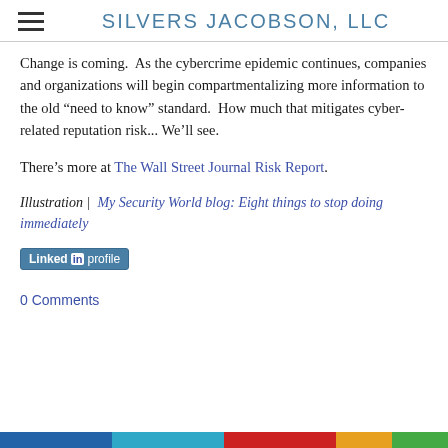SILVERS JACOBSON, LLC
Change is coming.  As the cybercrime epidemic continues, companies and organizations will begin compartmentalizing more information to the old “need to know” standard.  How much that mitigates cyber-related reputation risk... We’ll see.
There’s more at The Wall Street Journal Risk Report.
Illustration |  My Security World blog: Eight things to stop doing immediately
[Figure (other): LinkedIn profile button]
0 Comments